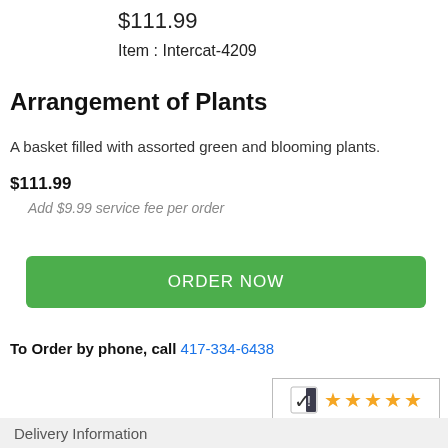$111.99
Item : Intercat-4209
Arrangement of Plants
A basket filled with assorted green and blooming plants.
$111.99
Add $9.99 service fee per order
ORDER NOW
To Order by phone, call 417-334-6438
[Figure (other): 5-star rating badge with checkmark logo and date Aug 22, 2022]
Delivery Information